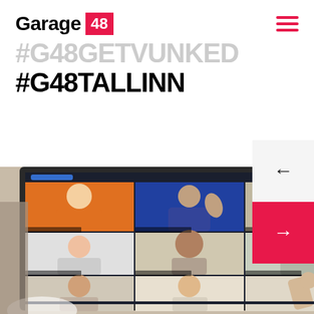Garage 48
#G48GETVUNKED
#G48TALLINN
[Figure (photo): A computer monitor displaying a Zoom-style video call grid with many participants waving at the camera, photographed in person from an office environment.]